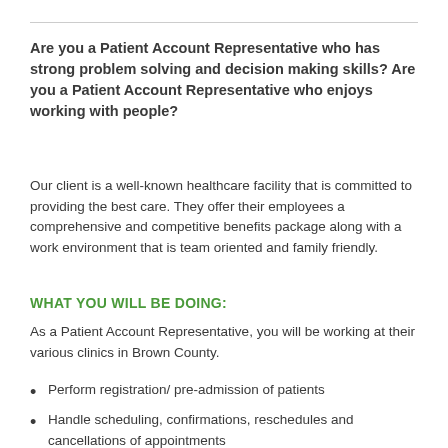Are you a Patient Account Representative who has strong problem solving and decision making skills? Are you a Patient Account Representative who enjoys working with people?
Our client is a well-known healthcare facility that is committed to providing the best care. They offer their employees a comprehensive and competitive benefits package along with a work environment that is team oriented and family friendly.
WHAT YOU WILL BE DOING:
As a Patient Account Representative, you will be working at their various clinics in Brown County.
Perform registration/ pre-admission of patients
Handle scheduling, confirmations, reschedules and cancellations of appointments